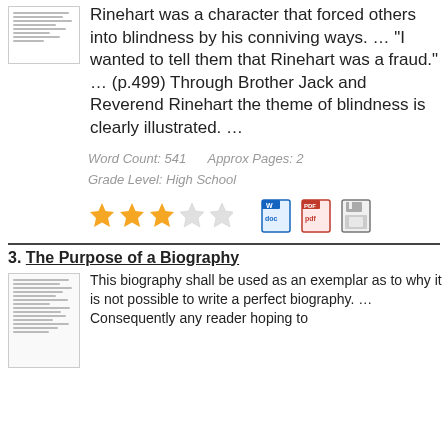[Figure (illustration): Small thumbnail of a document page]
Rinehart was a character that forced others into blindness by his conniving ways. … "I wanted to tell them that Rinehart was a fraud." … (p.499) Through Brother Jack and Reverend Rinehart the theme of blindness is clearly illustrated. …
Word Count: 541     Approx Pages: 2
Grade Level: High School
[Figure (infographic): 3 out of 5 star rating and file type icons (Word, PDF, Save)]
3. The Purpose of a Biography
[Figure (illustration): Small thumbnail of a document page for biography essay]
This biography shall be used as an exemplar as to why it is not possible to write a perfect biography. … Consequently any reader hoping to